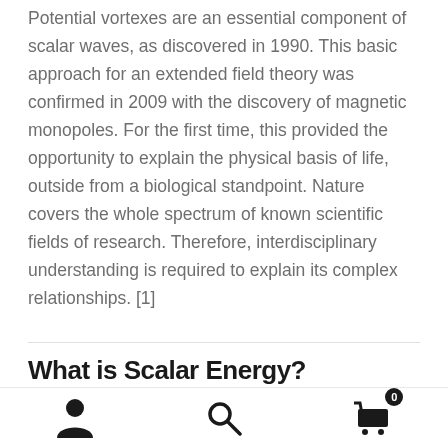Potential vortexes are an essential component of scalar waves, as discovered in 1990.  This basic approach for an extended field theory was confirmed in 2009 with the discovery of magnetic monopoles. For the first time, this provided the opportunity to explain the physical basis of life, outside from a biological standpoint. Nature covers the whole spectrum of known scientific fields of research. Therefore, interdisciplinary understanding is required to explain its complex relationships. [1]
What is Scalar Energy?